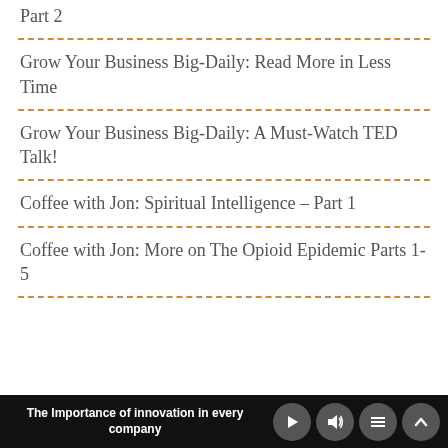Coffee with Jon: Spiritual Intelligence – Part 2
Grow Your Business Big-Daily: Read More in Less Time
Grow Your Business Big-Daily: A Must-Watch TED Talk!
Coffee with Jon: Spiritual Intelligence – Part 1
Coffee with Jon: More on The Opioid Epidemic Parts 1-5
The Importance of innovation in every company